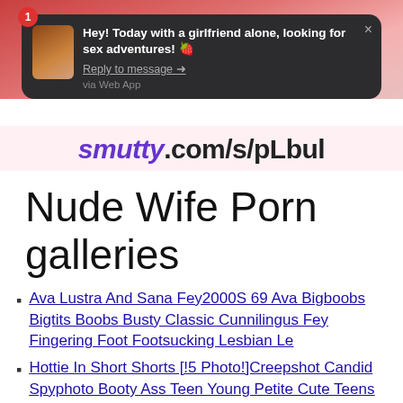[Figure (screenshot): Advertisement banner showing a notification popup over a blurred image. Notification reads: 'Hey! Today with a girlfriend alone, looking for sex adventures! Reply to message → via Web App'. Below is a URL bar showing smutty.com/s/pLbul]
Nude Wife Porn galleries
Ava Lustra And Sana Fey2000S 69 Ava Bigboobs Bigtits Boobs Busty Classic Cunnilingus Fey Fingering Foot Footsucking Lesbian Le
Hottie In Short Shorts [!5 Photo!]Creepshot Candid Spyphoto Booty Ass Teen Young Petite Cute Teens Shorts Fitbody Denimshor
Just Being Friendly, Hotwife SharedWife Mfm